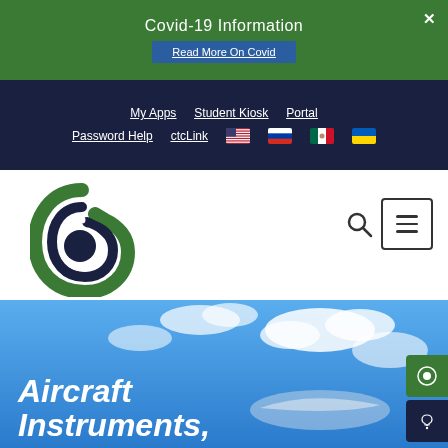Covid-19 Information
Read More On Covid
My Apps | Student Kiosk | Portal | Password Help | ctcLink
[Figure (logo): Bellevue College 'b' logo in green and navy]
Aircraft Instruments,